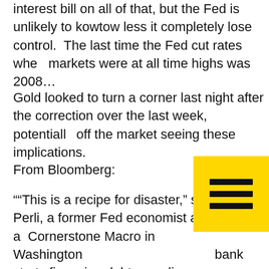interest bill on all of that, but the Fed is unlikely to kowtow less it completely lose control.  The last time the Fed cut rates when markets were at all time highs was 2008…
Gold looked to turn a corner last night after the correction over the last week, potentially off the market seeing these implications.
From Bloomberg:
““This is a recipe for disaster,” said Roberto Perli, a former Fed economist and partner at Cornerstone Macro in Washington. If the central bank starts financing debt spending without constraints, interest rates will end up being
[Figure (other): Hamburger menu icon — three horizontal black bars on a yellow/gold square background, positioned in the lower-right area of the page.]